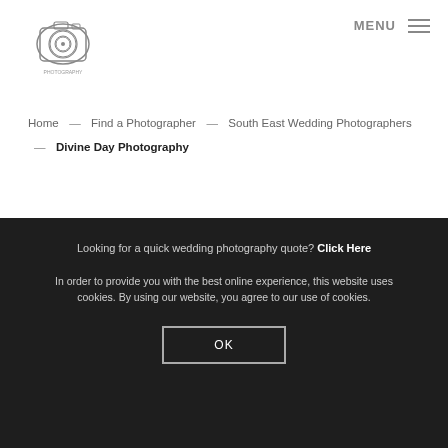[Figure (logo): Camera illustration logo for photography website]
MENU ☰
Home — Find a Photographer — South East Wedding Photographers — Divine Day Photography
Looking for a quick wedding photography quote? Click Here
In order to provide you with the best online experience, this website uses cookies. By using our website, you agree to our use of cookies.
OK